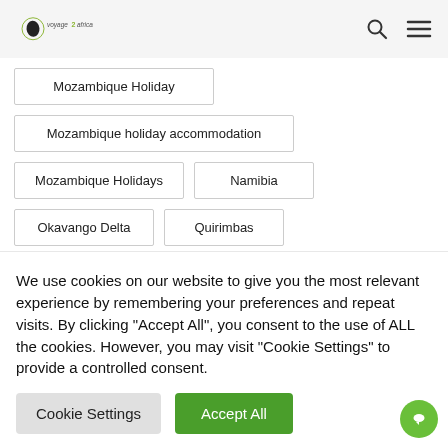voyage2africa
Mozambique Holiday
Mozambique holiday accommodation
Mozambique Holidays
Namibia
Okavango Delta
Quirimbas
We use cookies on our website to give you the most relevant experience by remembering your preferences and repeat visits. By clicking “Accept All”, you consent to the use of ALL the cookies. However, you may visit "Cookie Settings" to provide a controlled consent.
Cookie Settings   Accept All